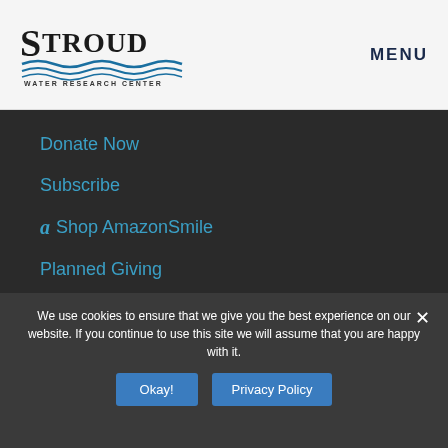STROUD Water Research Center — MENU
Donate Now
Subscribe
Shop AmazonSmile
Planned Giving
Special Gifts
More Ways to Give
We use cookies to ensure that we give you the best experience on our website. If you continue to use this site we will assume that you are happy with it.
Okay! | Privacy Policy